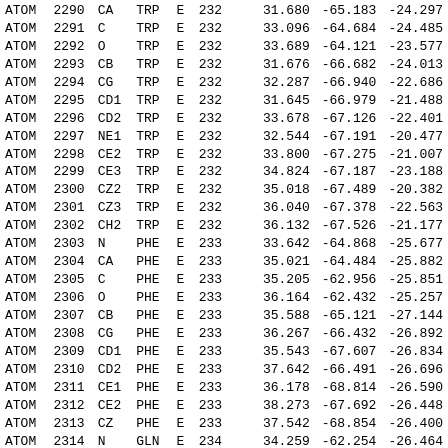| Type | Num | Atom | Res | Ch | SeqN |  | X | Y | Z |
| --- | --- | --- | --- | --- | --- | --- | --- | --- | --- |
| ATOM | 2290 | CA | TRP | E | 232 |  | 31.680 | -65.183 | -24.297 |
| ATOM | 2291 | C | TRP | E | 232 |  | 33.096 | -64.684 | -24.485 |
| ATOM | 2292 | O | TRP | E | 232 |  | 33.689 | -64.121 | -23.577 |
| ATOM | 2293 | CB | TRP | E | 232 |  | 31.676 | -66.682 | -24.013 |
| ATOM | 2294 | CG | TRP | E | 232 |  | 32.287 | -66.940 | -22.686 |
| ATOM | 2295 | CD1 | TRP | E | 232 |  | 31.645 | -66.979 | -21.488 |
| ATOM | 2296 | CD2 | TRP | E | 232 |  | 33.678 | -67.126 | -22.401 |
| ATOM | 2297 | NE1 | TRP | E | 232 |  | 32.544 | -67.191 | -20.477 |
| ATOM | 2298 | CE2 | TRP | E | 232 |  | 33.800 | -67.275 | -21.007 |
| ATOM | 2299 | CE3 | TRP | E | 232 |  | 34.824 | -67.187 | -23.188 |
| ATOM | 2300 | CZ2 | TRP | E | 232 |  | 35.018 | -67.489 | -20.382 |
| ATOM | 2301 | CZ3 | TRP | E | 232 |  | 36.040 | -67.378 | -22.563 |
| ATOM | 2302 | CH2 | TRP | E | 232 |  | 36.132 | -67.526 | -21.177 |
| ATOM | 2303 | N | PHE | E | 233 |  | 33.642 | -64.868 | -25.677 |
| ATOM | 2304 | CA | PHE | E | 233 |  | 35.021 | -64.484 | -25.882 |
| ATOM | 2305 | C | PHE | E | 233 |  | 35.205 | -62.956 | -25.851 |
| ATOM | 2306 | O | PHE | E | 233 |  | 36.164 | -62.432 | -25.257 |
| ATOM | 2307 | CB | PHE | E | 233 |  | 35.588 | -65.121 | -27.144 |
| ATOM | 2308 | CG | PHE | E | 233 |  | 36.267 | -66.432 | -26.892 |
| ATOM | 2309 | CD1 | PHE | E | 233 |  | 35.543 | -67.607 | -26.834 |
| ATOM | 2310 | CD2 | PHE | E | 233 |  | 37.642 | -66.491 | -26.696 |
| ATOM | 2311 | CE1 | PHE | E | 233 |  | 36.178 | -68.814 | -26.590 |
| ATOM | 2312 | CE2 | PHE | E | 233 |  | 38.273 | -67.692 | -26.448 |
| ATOM | 2313 | CZ | PHE | E | 233 |  | 37.542 | -68.854 | -26.400 |
| ATOM | 2314 | N | GLN | E | 234 |  | 34.259 | -62.254 | -26.464 |
| ATOM | 2315 | CA | GLN | E | 234 |  | 34.305 | -60.818 | -26.498 |
| ATOM | 2316 | C | GLN | E | 234 |  | 34.348 | -60.309 | -25.074 |
| ATOM | 2317 | O | GLN | E | 234 |  | 35.257 | -59.532 | -24.723 |
| ATOM | 2318 | CB | GLN | E | 234 |  | 33.102 | -60.252 | -27.256 |
| ATOM | 2319 | CG | GLN | E | 234 |  | 33.265 | -58.766 | -27.627 |